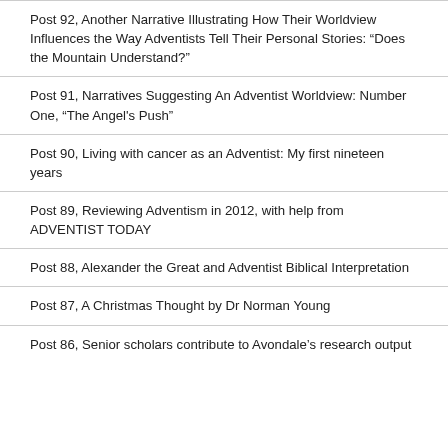Post 92, Another Narrative Illustrating How Their Worldview Influences the Way Adventists Tell Their Personal Stories: “Does the Mountain Understand?”
Post 91, Narratives Suggesting An Adventist Worldview: Number One, “The Angel's Push”
Post 90, Living with cancer as an Adventist: My first nineteen years
Post 89, Reviewing Adventism in 2012, with help from ADVENTIST TODAY
Post 88, Alexander the Great and Adventist Biblical Interpretation
Post 87, A Christmas Thought by Dr Norman Young
Post 86, Senior scholars contribute to Avondale’s research output